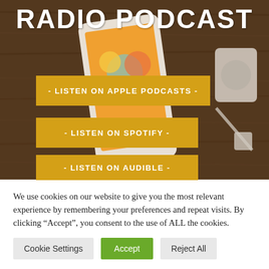[Figure (screenshot): Hero background image showing a smartphone with podcast app on a wooden surface with earphones, dark warm-toned photo]
RADIO PODCAST
- LISTEN ON APPLE PODCASTS -
- LISTEN ON SPOTIFY -
- LISTEN ON AUDIBLE -
We use cookies on our website to give you the most relevant experience by remembering your preferences and repeat visits. By clicking “Accept”, you consent to the use of ALL the cookies.
Cookie Settings | Accept | Reject All